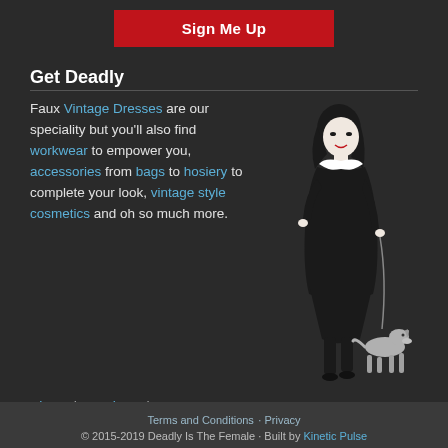Sign Me Up
Get Deadly
Faux Vintage Dresses are our speciality but you'll also find workwear to empower you, accessories from bags to hosiery to complete your look, vintage style cosmetics and oh so much more.
[Figure (illustration): Vintage pin-up style illustration of a woman in a black dress with a red flower in her hair, walking a grey greyhound dog on a leash]
About | Boutique | Contact
Terms and Conditions · Privacy
© 2015-2019 Deadly Is The Female · Built by Kinetic Pulse